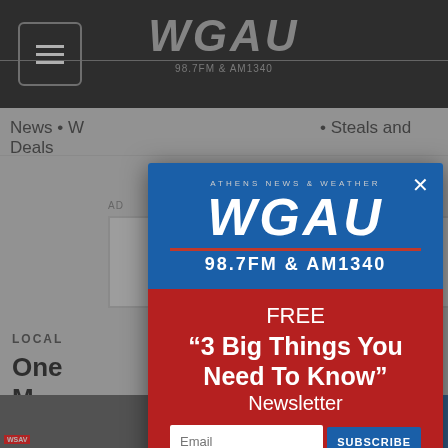WGAU 98.7FM & AM1340
News • W • Steals and Deals
AD
LOCAL
One M Day
[Figure (screenshot): WGAU newsletter signup modal popup over a radio station website. Blue top section shows 'ATHENS NEWS & WEATHER' and 'WGAU 98.7FM & AM1340' logo. Red bottom section shows 'FREE 3 Big Things You Need To Know Newsletter' with email input and SUBSCRIBE button.]